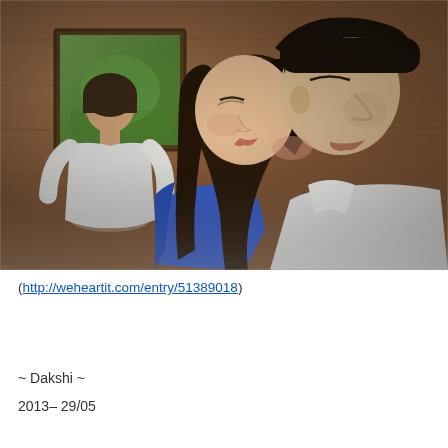[Figure (photo): A couple kissing closely, faces nearly touching. A man in a white shirt and a woman in a blue top. In the background, another person stands facing away wearing a white shirt, with a framed painting on a wooden wall.]
(http://weheartit.com/entry/51389018)
~ Dakshi ~
2013– 29/05